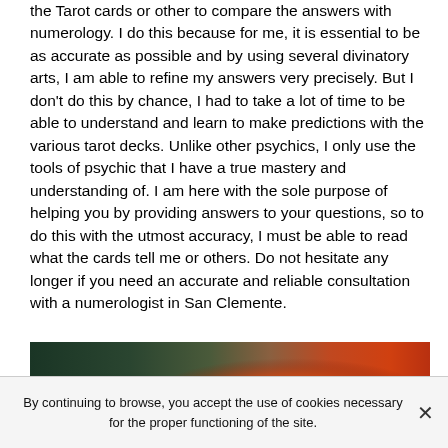the Tarot cards or other to compare the answers with numerology. I do this because for me, it is essential to be as accurate as possible and by using several divinatory arts, I am able to refine my answers very precisely. But I don't do this by chance, I had to take a lot of time to be able to understand and learn to make predictions with the various tarot decks. Unlike other psychics, I only use the tools of psychic that I have a true mastery and understanding of. I am here with the sole purpose of helping you by providing answers to your questions, so to do this with the utmost accuracy, I must be able to read what the cards tell me or others. Do not hesitate any longer if you need an accurate and reliable consultation with a numerologist in San Clemente.
[Figure (photo): A dark atmospheric photo showing hands with an orange/red glowing orb or crystal ball, against a dark green background.]
By continuing to browse, you accept the use of cookies necessary for the proper functioning of the site.